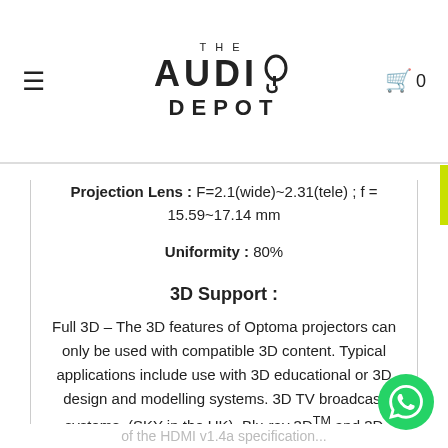THE AUDIO DEPOT
Projection Lens : F=2.1(wide)~2.31(tele) ; f = 15.59~17.14 mm
Uniformity : 80%
3D Support :
Full 3D – The 3D features of Optoma projectors can only be used with compatible 3D content. Typical applications include use with 3D educational or 3D design and modelling systems. 3D TV broadcast systems, (SKY in the UK), Blu-ray 3D™ and 3D games from the Sony® PS3 and Microsoft® Xbox 360 are now supported as part of the HDMI v1.4a specification.